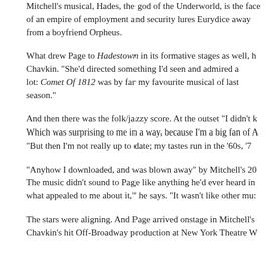Mitchell's musical, Hades, the god of the Underworld, is the face of an empire of employment and security lures Eurydice away from a boyfriend Orpheus.
What drew Page to Hadestown in its formative stages as well, h Chavkin. "She'd directed something I'd seen and admired a lot: Comet Of 1812 was by far my favourite musical of last season."
And then there was the folk/jazzy score. At the outset "I didn't k Which was surprising to me in a way, because I'm a big fan of A "But then I'm not really up to date; my tastes run in the '60s, '7
"Anyhow I downloaded, and was blown away" by Mitchell's 20 The music didn't sound to Page like anything he'd ever heard in what appealed to me about it," he says. "It wasn't like other mu:
The stars were aligning. And Page arrived onstage in Mitchell's Chavkin's hit Off-Broadway production at New York Theatre W